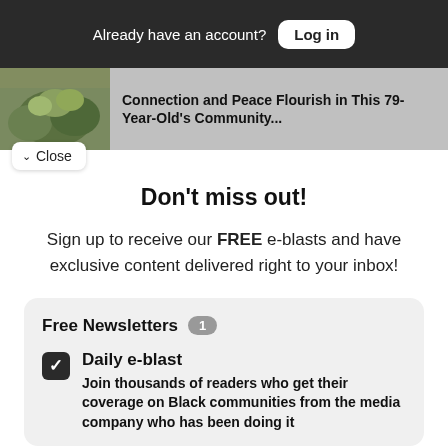Already have an account? Log in
Connection and Peace Flourish in This 79-Year-Old's Community...
Close
Don't miss out!
Sign up to receive our FREE e-blasts and have exclusive content delivered right to your inbox!
Free Newsletters 1
Daily e-blast
Join thousands of readers who get their coverage on Black communities from the media company who has been doing it